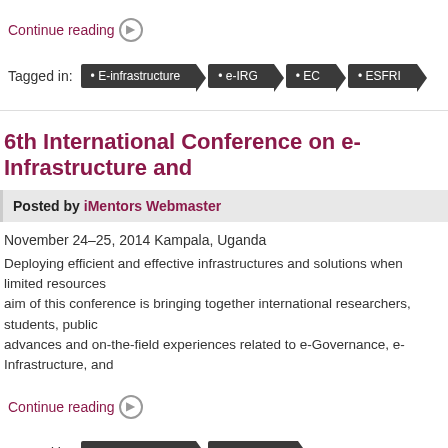Continue reading
Tagged in: E-infrastructure e-IRG EC ESFRI
6th International Conference on e-Infrastructure and
Posted by iMentors Webmaster
November 24–25, 2014 Kampala, Uganda
Deploying efficient and effective infrastructures and solutions when limited resources aim of this conference is bringing together international researchers, students, public advances and on-the-field experiences related to e-Governance, e-Infrastructure, and
Continue reading
Tagged in: e-Infrastructure e-Services
UbuntuNet-Connect 2014, 13-14 November 2014, Lu
Posted by iMentors Webmaster